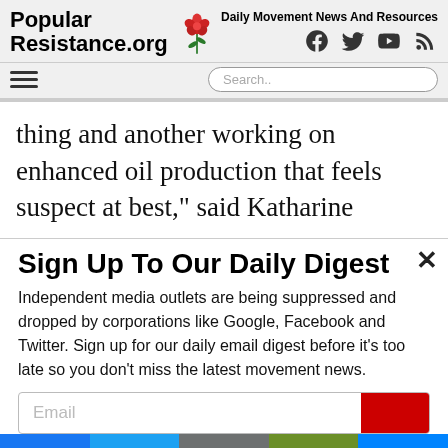Popular Resistance.org — Daily Movement News And Resources
thing and another working on enhanced oil production that feels suspect at best," said Katharine
Sign Up To Our Daily Digest
Independent media outlets are being suppressed and dropped by corporations like Google, Facebook and Twitter. Sign up for our daily email digest before it's too late so you don't miss the latest movement news.
Facebook, Twitter, Email, Print, Messenger social share buttons